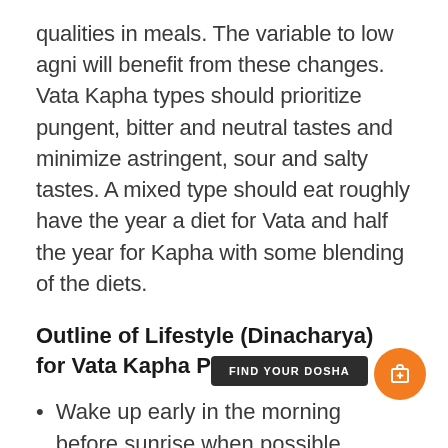qualities in meals. The variable to low agni will benefit from these changes. Vata Kapha types should prioritize pungent, bitter and neutral tastes and minimize astringent, sour and salty tastes. A mixed type should eat roughly have the year a diet for Vata and half the year for Kapha with some blending of the diets.
Outline of Lifestyle (Dinacharya) for Vata Kapha Prakriti
Wake up early in the morning before sunrise when possible